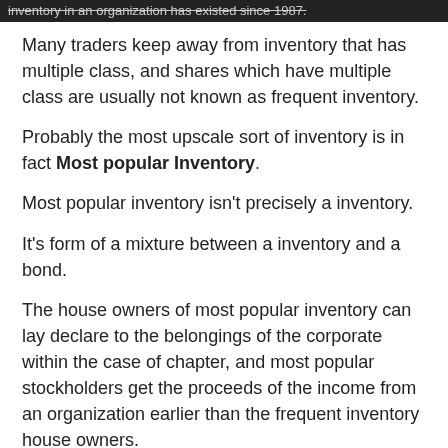inventory in an organization has existed since 1987.
Many traders keep away from inventory that has multiple class, and shares which have multiple class are usually not known as frequent inventory.
Probably the most upscale sort of inventory is in fact Most popular Inventory.
Most popular inventory isn't precisely a inventory.
It's form of a mixture between a inventory and a bond.
The house owners of most popular inventory can lay declare to the belongings of the corporate within the case of chapter, and most popular stockholders get the proceeds of the income from an organization earlier than the frequent inventory house owners.
In the event you assume that you could be want this